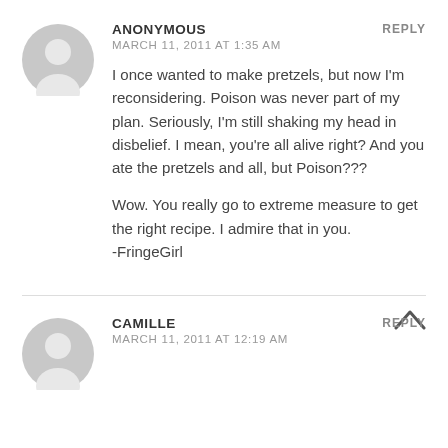ANONYMOUS
MARCH 11, 2011 AT 1:35 AM
I once wanted to make pretzels, but now I'm reconsidering. Poison was never part of my plan. Seriously, I'm still shaking my head in disbelief. I mean, you're all alive right? And you ate the pretzels and all, but Poison???
Wow. You really go to extreme measure to get the right recipe. I admire that in you. -FringeGirl
REPLY
CAMILLE
MARCH 11, 2011 AT 12:19 AM
REPLY